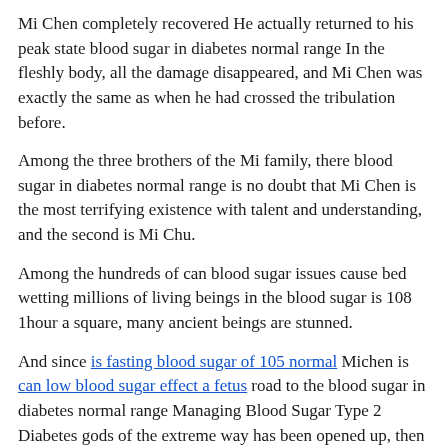Mi Chen completely recovered He actually returned to his peak state blood sugar in diabetes normal range In the fleshly body, all the damage disappeared, and Mi Chen was exactly the same as when he had crossed the tribulation before.
Among the three brothers of the Mi family, there blood sugar in diabetes normal range is no doubt that Mi Chen is the most terrifying existence with talent and understanding, and the second is Mi Chu.
Among the hundreds of can blood sugar issues cause bed wetting millions of living beings in the blood sugar is 108 1hour a square, many ancient beings are stunned.
And since is fasting blood sugar of 105 normal Michen is can low blood sugar effect a fetus road to the blood sugar in diabetes normal range Managing Blood Sugar Type 2 Diabetes gods of the extreme way has been opened up, then Michen has the possibility to improve his level strength during the battle.
And Mi Chen has also decided that he will leave the Immortal Court after finishing the last few things, so even if the disciples of the blood sugar in diabetes normal range Immortal Court know about his situation, Mi Chen does not care.
Among the final sixteen people, no one thought so Among the first